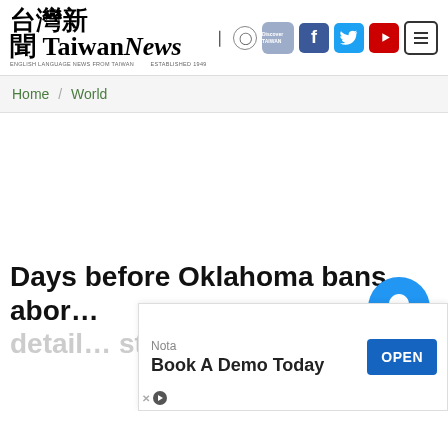Taiwan News
Home / World
Days before Oklahoma bans abortions, details still uncertain